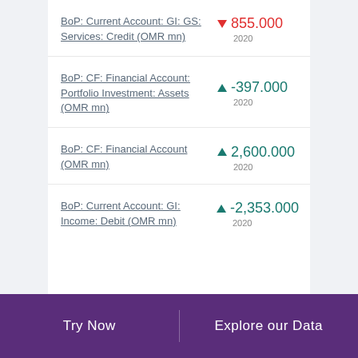BoP: Current Account: GI: GS: Services: Credit (OMR mn)
BoP: CF: Financial Account: Portfolio Investment: Assets (OMR mn)
BoP: CF: Financial Account (OMR mn)
BoP: Current Account: GI: Income: Debit (OMR mn)
Try Now   Explore our Data